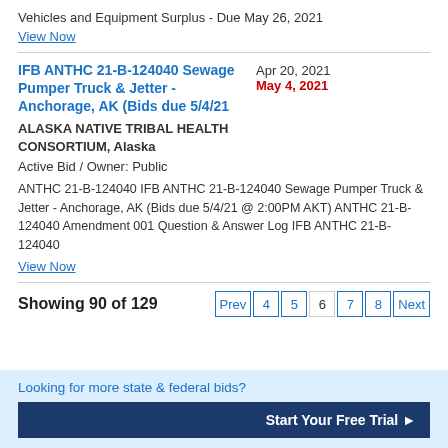Vehicles and Equipment Surplus - Due May 26, 2021
View Now
IFB ANTHC 21-B-124040 Sewage Pumper Truck & Jetter - Anchorage, AK (Bids due 5/4/21)
Apr 20, 2021
May 4, 2021
ALASKA NATIVE TRIBAL HEALTH CONSORTIUM, Alaska
Active Bid / Owner: Public
ANTHC 21-B-124040 IFB ANTHC 21-B-124040 Sewage Pumper Truck & Jetter - Anchorage, AK (Bids due 5/4/21 @ 2:00PM AKT) ANTHC 21-B-124040 Amendment 001 Question & Answer Log IFB ANTHC 21-B-124040
View Now
Showing 90 of 129
Prev 4 5 6 7 8 Next
Looking for more state & federal bids?
Start Your Free Trial ▶